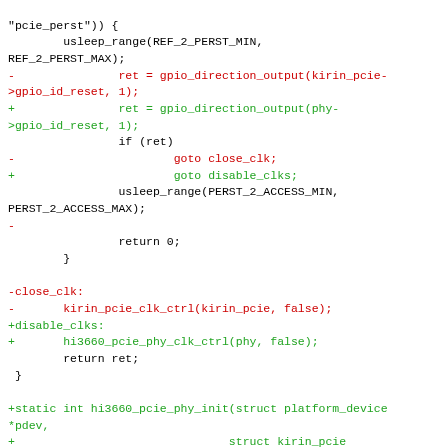[Figure (screenshot): Code diff showing changes to PCIe PHY initialization functions. Lines with '-' prefix shown in red (removed), lines with '+' prefix shown in green (added), context lines in black.]